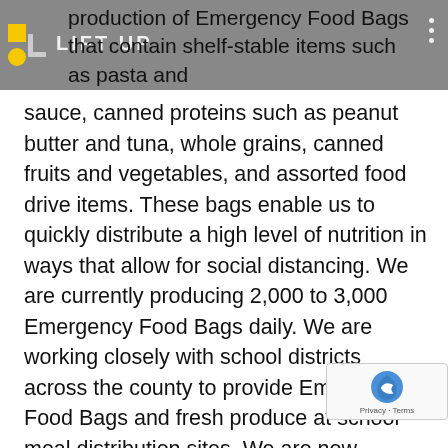LIFT UP
production of Emergency Food Bags that contain shelf-stable items such as pasta and sauce, canned proteins such as peanut butter and tuna, whole grains, canned fruits and vegetables, and assorted food drive items. These bags enable us to quickly distribute a high level of nutrition in ways that allow for social distancing. We are currently producing 2,000 to 3,000 Emergency Food Bags daily. We are working closely with school districts across the county to provide Emergency Food Bags and fresh produce at school meal distribution sites. We are now distributing 5,100 Emergency Food Bags weekly to seven school districts (Alameda, Albany, Berkeley, Castro Valley, Oakland, Pleasanton, and Sa Lorenzo). Emergency Food Bags are also